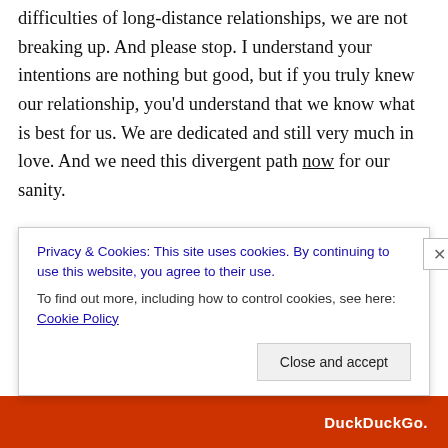difficulties of long-distance relationships, we are not breaking up. And please stop. I understand your intentions are nothing but good, but if you truly knew our relationship, you'd understand that we know what is best for us. We are dedicated and still very much in love. And we need this divergent path now for our sanity.
Over the holiday break, I got whooped in the ass by the worst cold I can ever remember having, moved from Lakeland to St. Pete (and not by the movers who no-showed twice!), went home to Atlanta to see family and friends, then got up here for the New Year in Colorado...
Privacy & Cookies: This site uses cookies. By continuing to use this website, you agree to their use.
To find out more, including how to control cookies, see here: Cookie Policy